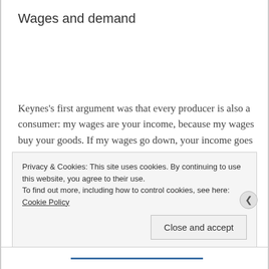Wages and demand
Keynes's first argument was that every producer is also a consumer: my wages are your income, because my wages buy your goods. If my wages go down, your income goes down, too. The general principle is that cuts in production costs (whether by cutting wages or by laying off
Privacy & Cookies: This site uses cookies. By continuing to use this website, you agree to their use.
To find out more, including how to control cookies, see here: Cookie Policy
Close and accept